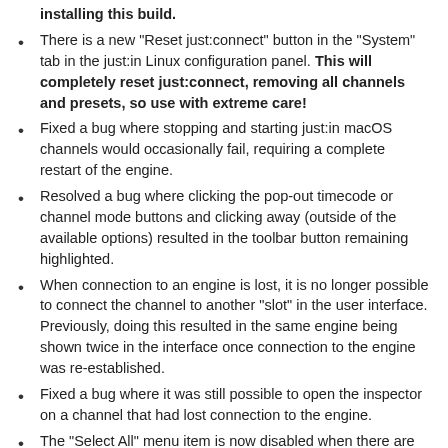installing this build.
There is a new "Reset just:connect" button in the "System" tab in the just:in Linux configuration panel. This will completely reset just:connect, removing all channels and presets, so use with extreme care!
Fixed a bug where stopping and starting just:in macOS channels would occasionally fail, requiring a complete restart of the engine.
Resolved a bug where clicking the pop-out timecode or channel mode buttons and clicking away (outside of the available options) resulted in the toolbar button remaining highlighted.
When connection to an engine is lost, it is no longer possible to connect the channel to another "slot" in the user interface. Previously, doing this resulted in the same engine being shown twice in the interface once connection to the engine was re-established.
Fixed a bug where it was still possible to open the inspector on a channel that had lost connection to the engine.
The "Select All" menu item is now disabled when there are no connected channels available.
The "Record" menu item now respects the "Confirm stop